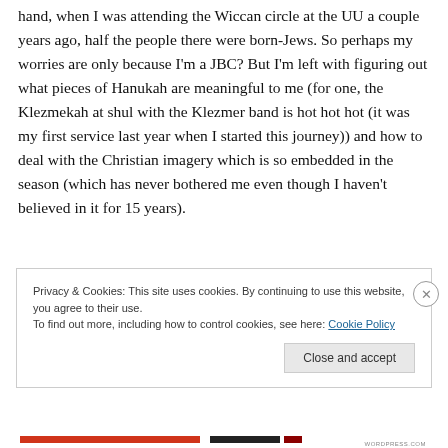hand, when I was attending the Wiccan circle at the UU a couple years ago, half the people there were born-Jews. So perhaps my worries are only because I'm a JBC? But I'm left with figuring out what pieces of Hanukah are meaningful to me (for one, the Klezmekah at shul with the Klezmer band is hot hot hot (it was my first service last year when I started this journey)) and how to deal with the Christian imagery which is so embedded in the season (which has never bothered me even though I haven't believed in it for 15 years).
Privacy & Cookies: This site uses cookies. By continuing to use this website, you agree to their use.
To find out more, including how to control cookies, see here: Cookie Policy